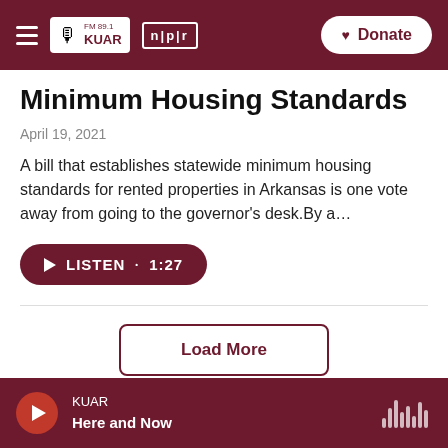FM 89.1 KUAR | NPR | Donate
Minimum Housing Standards
April 19, 2021
A bill that establishes statewide minimum housing standards for rented properties in Arkansas is one vote away from going to the governor's desk.By a…
LISTEN • 1:27
Load More
KUAR Here and Now